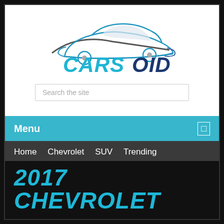[Figure (logo): CARSOID logo with stylized car silhouette above the text CARSOID in blue and dark blue gradient colors]
Search the site
Menu
Home   Chevrolet   SUV   Trending
2017 Chevrolet Bolt EV – It Puts Drivers "in Charge"
2017 CHEVROLET